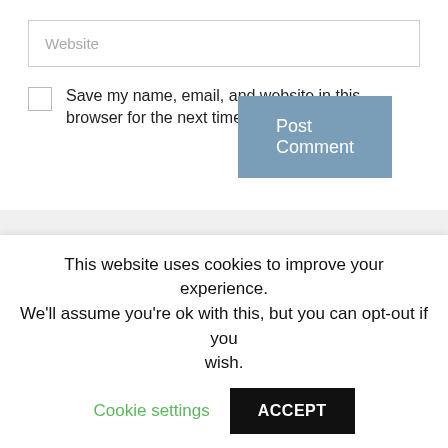Website
Save my name, email, and website in this browser for the next time I comment.
Post Comment
Popular | Recent
UPDATED NIGERIA CURRENT AFFAIRS 2022 QUESTIONS AND
This website uses cookies to improve your experience. We'll assume you're ok with this, but you can opt-out if you wish. Cookie settings ACCEPT